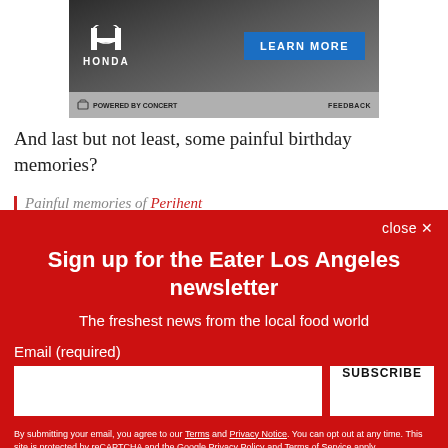[Figure (screenshot): Honda advertisement banner with dark gradient background, Honda H logo and HONDA text on left, blue LEARN MORE button on right, gray footer bar with POWERED BY CONCERT on left and FEEDBACK on right]
And last but not least, some painful birthday memories?
Painful memories of Perihent...
Sign up for the Eater Los Angeles newsletter
The freshest news from the local food world
Email (required)
SUBSCRIBE
By submitting your email, you agree to our Terms and Privacy Notice. You can opt out at any time. This site is protected by reCAPTCHA and the Google Privacy Policy and Terms of Service apply.